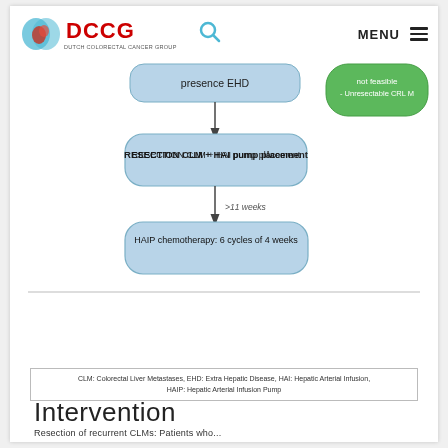DCCG - Dutch Colorectal Cancer Group
[Figure (flowchart): Partial flowchart showing: 'presence EHD' box connecting down to 'RESECTION CLM + HAI pump placement' rounded box, then '>11 weeks' arrow label, then 'HAIP chemotherapy: 6 cycles of 4 weeks' rounded box. A green box in upper right reads 'not feasible - Unresectable CRLM'.]
CLM: Colorectal Liver Metastases, EHD: Extra Hepatic Disease, HAI: Hepatic Arterial Infusion, HAIP: Hepatic Arterial Infusion Pump
Intervention
Resection of recurrent CLMs: Patients who...